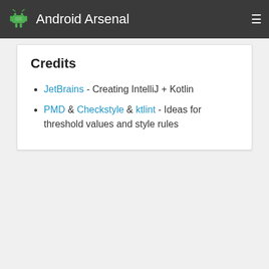Android Arsenal
Credits
JetBrains - Creating IntelliJ + Kotlin
PMD & Checkstyle & ktlint - Ideas for threshold values and style rules